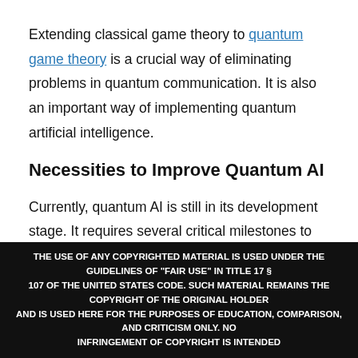Extending classical game theory to quantum game theory is a crucial way of eliminating problems in quantum communication. It is also an important way of implementing quantum artificial intelligence.
Necessities to Improve Quantum AI
Currently, quantum AI is still in its development stage. It requires several critical milestones to become a mature technology. The following developments in quantum AI will undoubtedly help
THE USE OF ANY COPYRIGHTED MATERIAL IS USED UNDER THE GUIDELINES OF "FAIR USE" IN TITLE 17 § 107 OF THE UNITED STATES CODE. SUCH MATERIAL REMAINS THE COPYRIGHT OF THE ORIGINAL HOLDER AND IS USED HERE FOR THE PURPOSES OF EDUCATION, COMPARISON, AND CRITICISM ONLY. NO INFRINGEMENT OF COPYRIGHT IS INTENDED